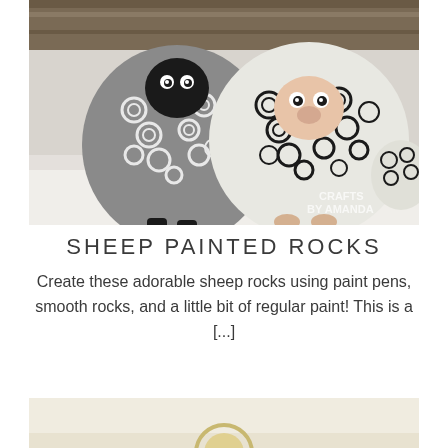[Figure (photo): Photo of painted rocks designed to look like sheep. Two larger rocks in front painted gray and white with swirl patterns and black faces/feet, and a smaller rock to the right with similar swirl detailing. Marble-like white surface underneath.]
SHEEP PAINTED ROCKS
Create these adorable sheep rocks using paint pens, smooth rocks, and a little bit of regular paint! This is a [...]
[Figure (photo): Partial bottom photo showing a light beige/cream colored surface, appears to be the top of another craft project image cut off at the page bottom.]